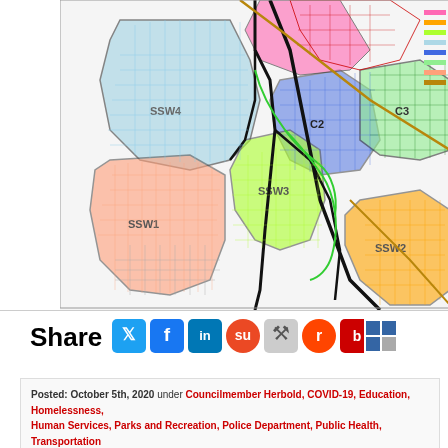[Figure (map): Colorful zoning/district map of Seattle showing districts labeled SSW1, SSW2, SSW3, SSW4, C2, C3 with various colored zones and street grids. A legend with colored bars is visible on the right side.]
Share
[Figure (infographic): Row of social media sharing icons: Twitter, Facebook, LinkedIn, StumbleUpon, Digg, Reddit, Bebo, Delicious]
Posted: October 5th, 2020 under Councilmember Herbold, COVID-19, Education, Homelessness, Human Services, Parks and Recreation, Police Department, Public Health, Transportation Tags: Bridge, budget, Child Care, Deaths, District 1, Duwamish Waterway Park, Fare Share, Grant Funding, Health, King County, Overdose, parks, SDOT, Sidewalk, Town Hall, Virtual Hours, West Seattle Bridge